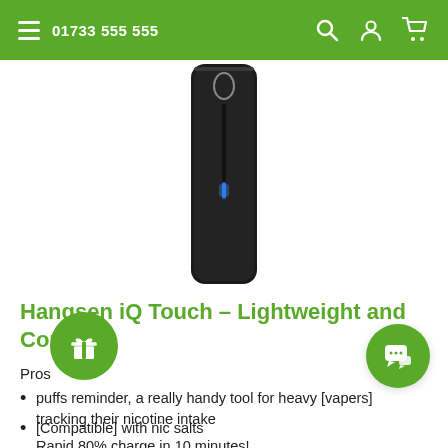01733 555 555
[Figure (photo): A slim rectangular black vape device (Hangsen iQ Touch) photographed upright on a white background, showing a small oval window near the top and a blue LED indicator strip near the bottom.]
Hangsen iQ Touch – Lightweight and Compact
Pros
puffs reminder, a really handy tool for heavy [vapers] tracking their nicotine intake
[Compatible] with nic salts
Rapid 80% charge in 10 minutes!
Familiar draw activation to cigarettes when you [vape]